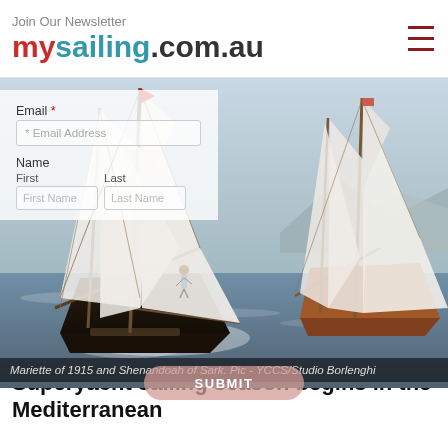Join Our Newsletter — mysailing.com.au
Email
*Email Address
Name
First
First Name
Last
Last Name
[Figure (photo): Two large classic sailing yachts racing on the Mediterranean sea with full white sails, one with a person standing on the bowsprit. Mountains visible in the background.]
Mariette of 1915 and Shenandoah of Sark. Pic - YCCS/Studio Borlenghi
Superyacht sailing season begins in the Mediterranean